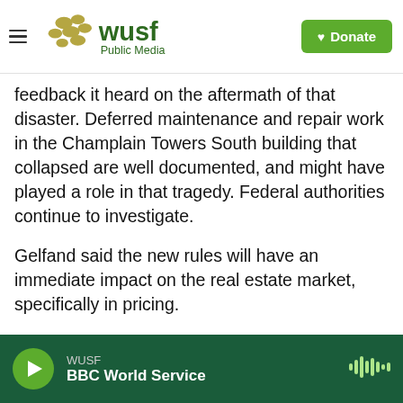WUSF Public Media | Donate
feedback it heard on the aftermath of that disaster. Deferred maintenance and repair work in the Champlain Towers South building that collapsed are well documented, and might have played a role in that tragedy. Federal authorities continue to investigate.
Gelfand said the new rules will have an immediate impact on the real estate market, specifically in pricing.
“It should, in a rational market, cause prices to increase because folks are gonna have to take into account the actual costs of owning a property
WUSF | BBC World Service